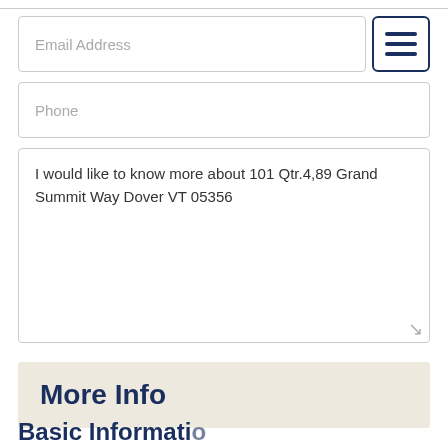Email Address
Phone
I would like to know more about 101 Qtr.4,89 Grand Summit Way Dover VT 05356
Send
More Info
Basic Information